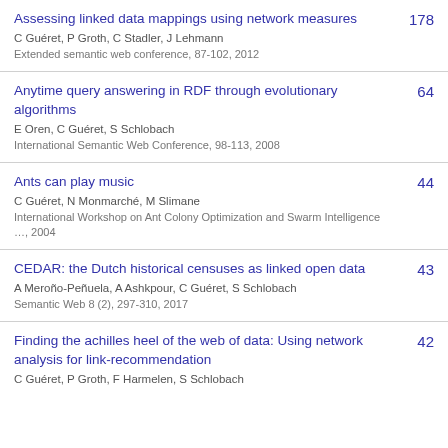Assessing linked data mappings using network measures
C Guéret, P Groth, C Stadler, J Lehmann
Extended semantic web conference, 87-102, 2012
178
Anytime query answering in RDF through evolutionary algorithms
E Oren, C Guéret, S Schlobach
International Semantic Web Conference, 98-113, 2008
64
Ants can play music
C Guéret, N Monmarché, M Slimane
International Workshop on Ant Colony Optimization and Swarm Intelligence …, 2004
44
CEDAR: the Dutch historical censuses as linked open data
A Meroño-Peñuela, A Ashkpour, C Guéret, S Schlobach
Semantic Web 8 (2), 297-310, 2017
43
Finding the achilles heel of the web of data: Using network analysis for link-recommendation
C Guéret, P Groth, F Harmelen, S Schlobach
42